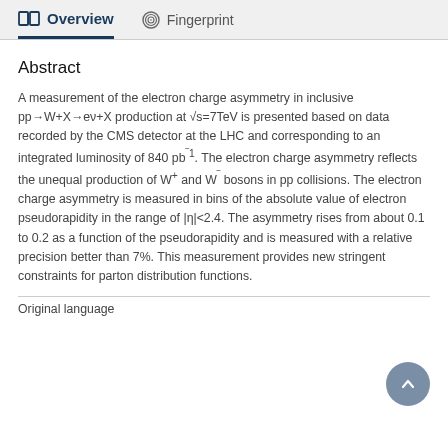Overview   Fingerprint
Abstract
A measurement of the electron charge asymmetry in inclusive pp→W+X→eν+X production at √s=7TeV is presented based on data recorded by the CMS detector at the LHC and corresponding to an integrated luminosity of 840 pb⁻¹. The electron charge asymmetry reflects the unequal production of W⁺ and W⁻ bosons in pp collisions. The electron charge asymmetry is measured in bins of the absolute value of electron pseudorapidity in the range of |η|<2.4. The asymmetry rises from about 0.1 to 0.2 as a function of the pseudorapidity and is measured with a relative precision better than 7%. This measurement provides new stringent constraints for parton distribution functions.
Original language